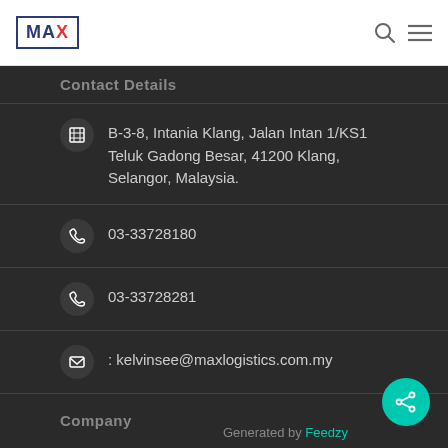MAX logo with search and menu icons
Contact Details
B-3-8, Intania Klang, Jalan Intan 1/KS1 Teluk Gadong Besar, 41200 Klang, Selangor, Malaysia.
03-33728180
03-33728281
: kelvinsee@maxlogistics.com.my
Company
About Us
Generated by Feedzy